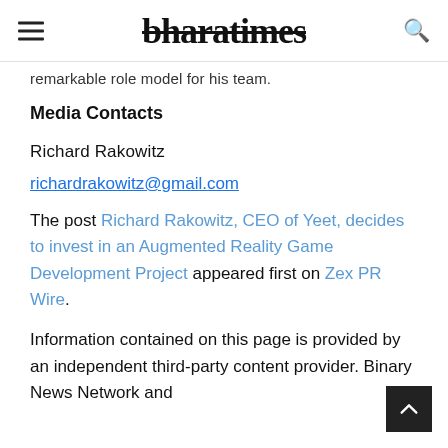bharatimes
remarkable role model for his team.
Media Contacts
Richard Rakowitz
richardrakowitz@gmail.com
The post Richard Rakowitz, CEO of Yeet, decides to invest in an Augmented Reality Game Development Project appeared first on Zex PR Wire.
Information contained on this page is provided by an independent third-party content provider. Binary News Network and